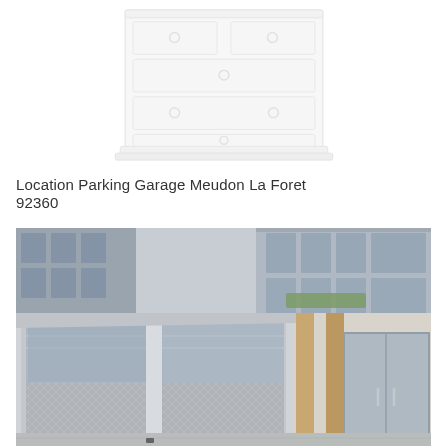[Figure (illustration): Faded/light illustration of a white chest of drawers (dresser) with multiple drawers and round handles, shown at a slight angle on white background]
Location Parking Garage Meudon La Foret 92360
[Figure (photo): Photograph of a modern building exterior featuring a large metal garage door with diamond-plate pattern on the lower half and glass panels on upper half, next to a glass entrance with wooden elements. Multi-story glass office building visible in background.]